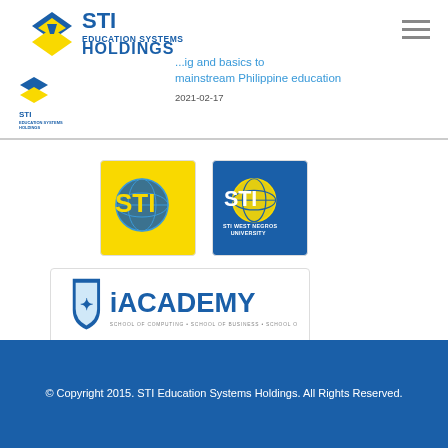[Figure (logo): STI Education Systems Holdings main logo with diamond/graduation cap icon in blue and yellow]
ig and baiscs to mainstream Philippine education
2021-02-17
[Figure (logo): STI small secondary logo]
[Figure (logo): STI yellow square logo]
[Figure (logo): STI West Negros University blue square logo]
[Figure (logo): iACADEMY logo - School of Computing, School of Business, School of Design]
© Copyright 2015. STI Education Systems Holdings. All Rights Reserved.